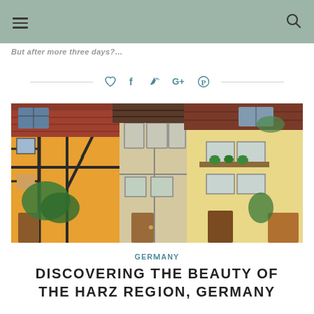≡  🔍
But after more three days?…
[Figure (other): Social sharing icons row: heart, facebook, twitter, google+, pinterest, with horizontal lines on each side]
[Figure (photo): Colorful German half-timbered (Fachwerk) houses in the Harz region, showing orange, yellow, and beige facades with dark timber framing, red tile roofs, multiple windows, wooden doors, and green vine plants.]
GERMANY
DISCOVERING THE BEAUTY OF THE HARZ REGION, GERMANY